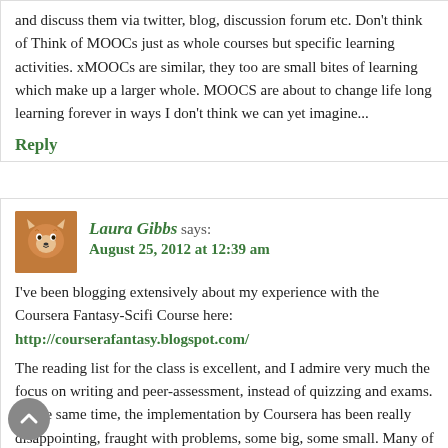and discuss them via twitter, blog, discussion forum etc. Don't think of Think of MOOCs just as whole courses but specific learning activities. xMOOCs are similar, they too are small bites of learning which make up a larger whole. MOOCS are about to change life long learning forever in ways I don't think we can yet imagine...
Reply
Laura Gibbs says: August 25, 2012 at 12:39 am
I've been blogging extensively about my experience with the Coursera Fantasy-Scifi Course here: http://courserafantasy.blogspot.com/
The reading list for the class is excellent, and I admire very much the focus on writing and peer-assessment, instead of quizzing and exams. At the same time, the implementation by Coursera has been really disappointing, fraught with problems, some big, some small. Many of the problems could be taken care of with relatively simple fixes (better